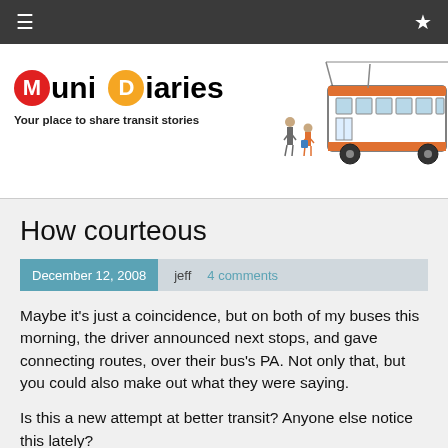≡  ★
[Figure (logo): Muni Diaries logo with red circle M, orange circle D, text 'uni iaries', tagline 'Your place to share transit stories', and an illustration of a trolley bus with passengers]
How courteous
December 12, 2008   jeff   4 comments
Maybe it's just a coincidence, but on both of my buses this morning, the driver announced next stops, and gave connecting routes, over their bus's PA. Not only that, but you could also make out what they were saying.
Is this a new attempt at better transit? Anyone else notice this lately?